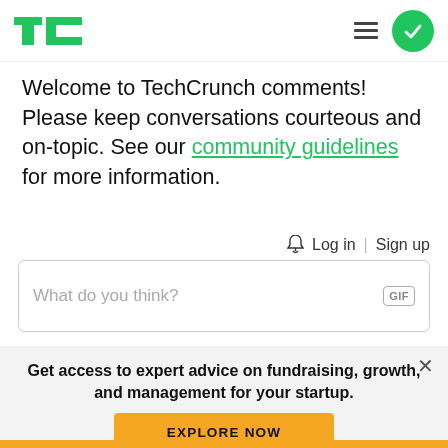[Figure (logo): TechCrunch TC green logo in header]
Welcome to TechCrunch comments! Please keep conversations courteous and on-topic. See our community guidelines for more information.
Log in | Sign up
What do you think?
[Figure (logo): TC+ logo with green TC and orange plus sign]
Get access to expert advice on fundraising, growth, and management for your startup.
EXPLORE NOW